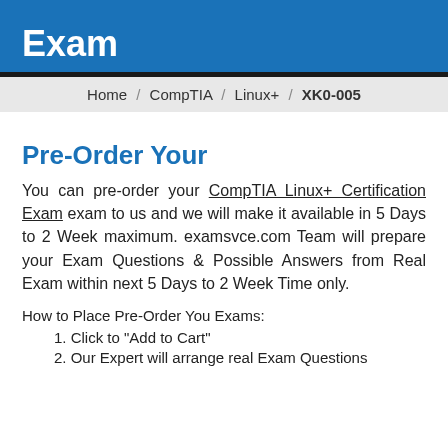Exam
Home / CompTIA / Linux+ / XK0-005
Pre-Order Your
You can pre-order your CompTIA Linux+ Certification Exam exam to us and we will make it available in 5 Days to 2 Week maximum. examsvce.com Team will prepare your Exam Questions & Possible Answers from Real Exam within next 5 Days to 2 Week Time only.
How to Place Pre-Order You Exams:
1. Click to "Add to Cart"
2. Our Expert will arrange real Exam Questions